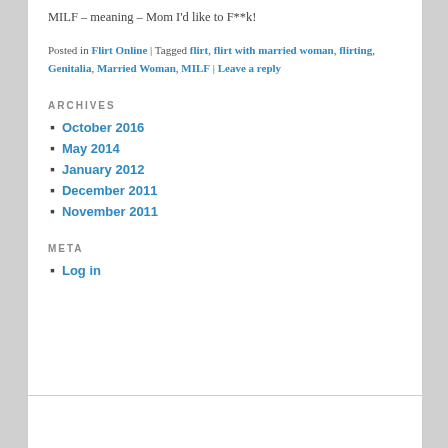MILF – meaning – Mom I'd like to F**k!
Posted in Flirt Online | Tagged flirt, flirt with married woman, flirting, Genitalia, Married Woman, MILF | Leave a reply
ARCHIVES
October 2016
May 2014
January 2012
December 2011
November 2011
META
Log in